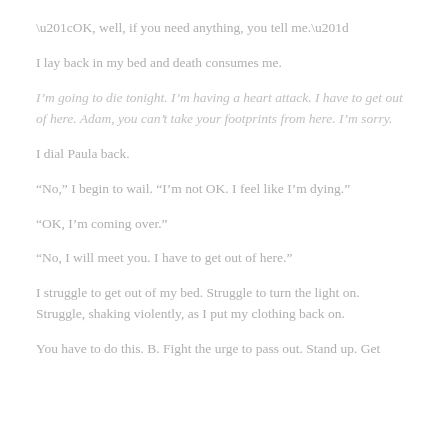“OK, well, if you need anything, you tell me.”
I lay back in my bed and death consumes me.
I’m going to die tonight. I’m having a heart attack. I have to get out of here. Adam, you can’t take your footprints from here. I’m sorry.
I dial Paula back.
“No,” I begin to wail. “I’m not OK. I feel like I’m dying.”
“OK, I’m coming over.”
“No, I will meet you. I have to get out of here.”
I struggle to get out of my bed. Struggle to turn the light on. Struggle, shaking violently, as I put my clothing back on.
You have to do this. B. Fight the urge to pass out. Stand up. Get